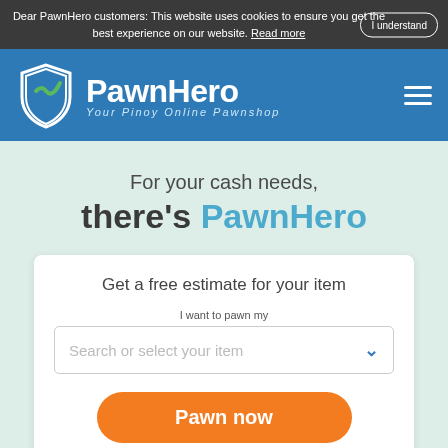Dear PawnHero customers: This website uses cookies to ensure you get the best experience on our website. Read more | I understand
[Figure (logo): PawnHero logo with shield icon and tagline 'Your Pinoy Online Pawnshop' on blue header background]
For your cash needs, there's PawnHero
Get a free estimate for your item
I want to pawn my
Search or select your item
Pawn now
Supervised by